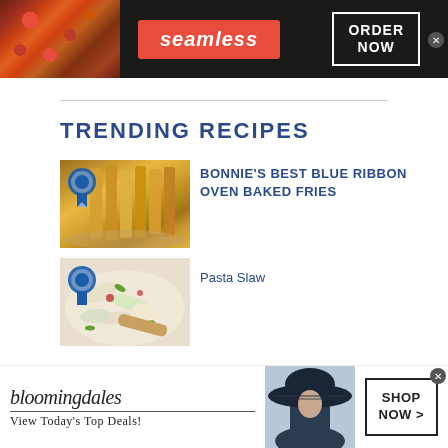[Figure (screenshot): Seamless food delivery advertisement banner with pizza image, red Seamless logo, and ORDER NOW button]
TRENDING RECIPES
[Figure (photo): Photo of oven baked french fries with blue ribbon badge]
BONNIE'S BEST BLUE RIBBON OVEN BAKED FRIES
[Figure (photo): Photo of pasta slaw with blue ribbon badge]
Pasta Slaw
[Figure (screenshot): Bloomingdale's advertisement banner with model in hat, shop now button, and View Today's Top Deals tagline]